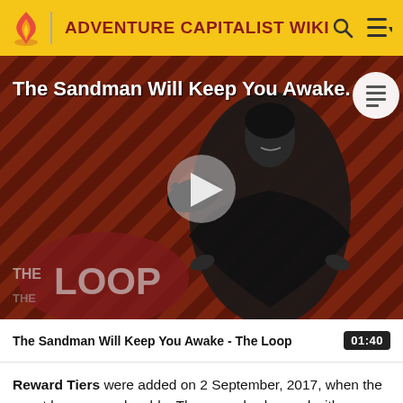ADVENTURE CAPITALIST WIKI
[Figure (screenshot): Video thumbnail for 'The Sandman Will Keep You Awake - The Loop' showing a figure in dark clothing with a crow, against a red diagonal striped background with 'THE LOOP' text overlay and a play button in the center.]
The Sandman Will Keep You Awake - The Loop  01:40
Reward Tiers were added on 2 September, 2017, when the event became replayable. The rewards changed with